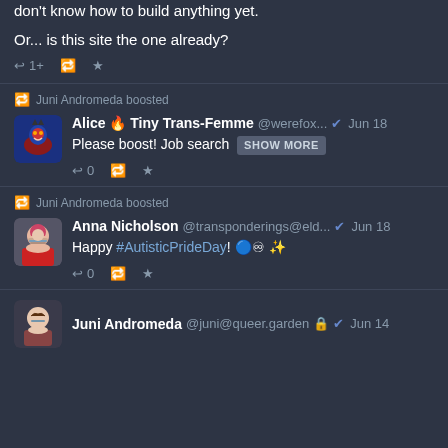don't know how to build anything yet.
Or... is this site the one already?
Juni Andromeda boosted
Alice 🔥 Tiny Trans-Femme @werefox... Jun 18
Please boost! Job search SHOW MORE
Juni Andromeda boosted
Anna Nicholson @transponderings@eld... Jun 18
Happy #AutisticPrideDay! ∞ ✨
Juni Andromeda @juni@queer.garden Jun 14